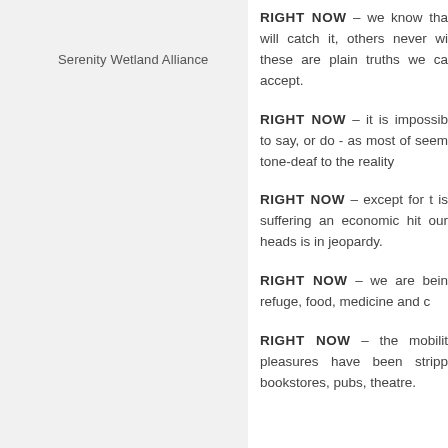Serenity Wetland Alliance
RIGHT NOW – we know that will catch it, others never will these are plain truths we can accept.
RIGHT NOW – it is impossible to say, or do - as most of seem tone-deaf to the reality
RIGHT NOW – except for the is suffering an economic hit our heads is in jeopardy.
RIGHT NOW – we are being refuge, food, medicine and c
RIGHT NOW – the mobility pleasures have been stripped bookstores, pubs, theatre.